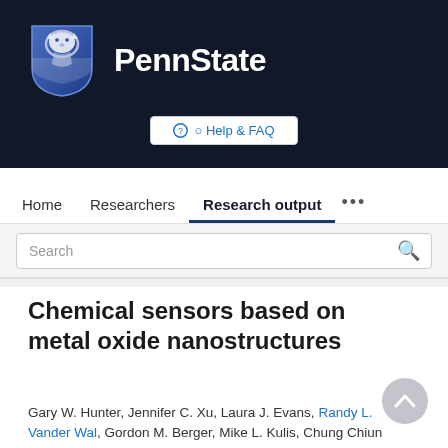[Figure (logo): Penn State University logo with shield icon and PennState text on dark background]
Help & FAQ
Home   Researchers   Research output   ...
Search
Chemical sensors based on metal oxide nanostructures
Gary W. Hunter, Jennifer C. Xu, Laura J. Evans, Randy L. Vander Wal, Gordon M. Berger, Mike L. Kulis, Chung Chiun